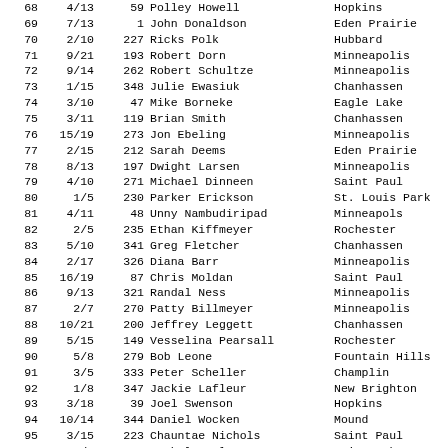| # | Fraction | Bib | Name | City |
| --- | --- | --- | --- | --- |
| 68 | 4/13 | 59 | Polley Howell | Hopkins |
| 69 | 7/13 | 1 | John Donaldson | Eden Prairie |
| 70 | 2/10 | 227 | Ricks Polk | Hubbard |
| 71 | 9/21 | 193 | Robert Dorn | Minneapolis |
| 72 | 9/14 | 262 | Robert Schultze | Minneapolis |
| 73 | 1/15 | 348 | Julie Ewasiuk | Chanhassen |
| 74 | 3/10 | 47 | Mike Borneke | Eagle Lake |
| 75 | 3/11 | 119 | Brian Smith | Chanhassen |
| 76 | 15/19 | 273 | Jon Ebeling | Minneapolis |
| 77 | 2/15 | 212 | Sarah Deems | Eden Prairie |
| 78 | 8/13 | 197 | Dwight Larsen | Minneapolis |
| 79 | 4/10 | 271 | Michael Dinneen | Saint Paul |
| 80 | 1/5 | 230 | Parker Erickson | St. Louis Park |
| 81 | 4/11 | 48 | Unny Nambudiripad | Minneapols |
| 82 | 2/5 | 235 | Ethan Kiffmeyer | Rochester |
| 83 | 5/10 | 341 | Greg Fletcher | Chanhassen |
| 84 | 2/17 | 326 | Diana Barr | Minneapolis |
| 85 | 16/19 | 87 | Chris Moldan | Saint Paul |
| 86 | 9/13 | 321 | Randal Ness | Minneapolis |
| 87 | 2/7 | 270 | Patty Billmeyer | Minneapolis |
| 88 | 10/21 | 200 | Jeffrey Leggett | Chanhassen |
| 89 | 5/15 | 149 | Vesselina Pearsall | Rochester |
| 90 | 5/8 | 279 | Bob Leone | Fountain Hills |
| 91 | 3/5 | 333 | Peter Scheller | Champlin |
| 92 | 1/8 | 347 | Jackie Lafleur | New Brighton |
| 93 | 3/18 | 39 | Joel Swenson | Hopkins |
| 94 | 10/14 | 344 | Daniel Wocken | Mound |
| 95 | 3/15 | 223 | Chauntae Nichols | Saint Paul |
| 96 | 2/8 | 242 | Rachel Houle | Prior Lake |
| 97 | 2/12 | 99 | Amy Bianchi-Rossi | Dayton |
| 98 | 3/7 | 52 | Bethann Barankovich | Mpls |
| 99 | 4/7 | 73 | Sondra Lazer | Saint Paul |
| 100 | 4/15 | 100 | Suzy Johnson | Duluth |